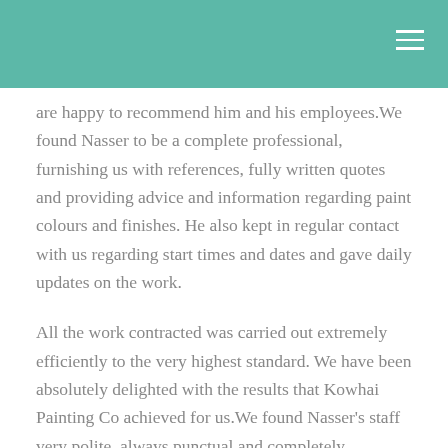are happy to recommend him and his employees.We found Nasser to be a complete professional, furnishing us with references, fully written quotes and providing advice and information regarding paint colours and finishes. He also kept in regular contact with us regarding start times and dates and gave daily updates on the work.
All the work contracted was carried out extremely efficiently to the very highest standard. We have been absolutely delighted with the results that Kowhai Painting Co achieved for us.We found Nasser's staff very polite, always punctual and completely trustworthy. Again, we cannot recommend Kowhai Painting Co highly enough; in today's competitive marketplace decorating companies